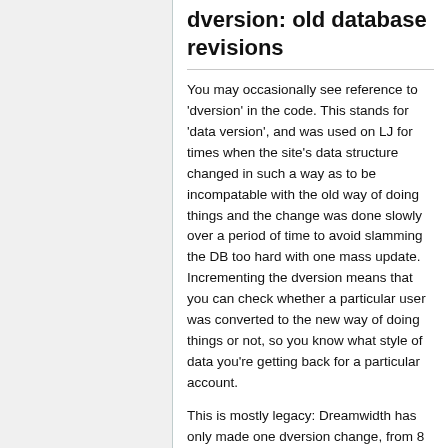dversion: old database revisions
You may occasionally see reference to 'dversion' in the code. This stands for 'data version', and was used on LJ for times when the site's data structure changed in such a way as to be incompatable with the old way of doing things and the change was done slowly over a period of time to avoid slamming the DB too hard with one mass update. Incrementing the dversion means that you can check whether a particular user was converted to the new way of doing things or not, so you know what style of data you're getting back for a particular account.
This is mostly legacy: Dreamwidth has only made one dversion change, from 8